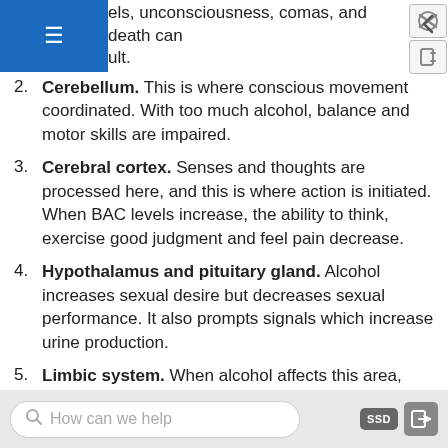els, unconsciousness, comas, and death can ult.
2. Cerebellum. This is where conscious movement coordinated. With too much alcohol, balance and motor skills are impaired.
3. Cerebral cortex. Senses and thoughts are processed here, and this is where action is initiated. When BAC levels increase, the ability to think, exercise good judgment and feel pain decrease.
4. Hypothalamus and pituitary gland. Alcohol increases sexual desire but decreases sexual performance. It also prompts signals which increase urine production.
5. Limbic system. When alcohol affects this area, individuals may become very emotional and less
How can we help